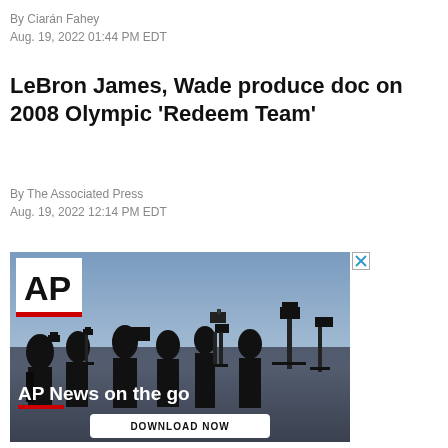By Ciarán Fahey
Aug. 19, 2022 01:44 PM EDT
LeBron James, Wade produce doc on 2008 Olympic 'Redeem Team'
By The Associated Press
Aug. 19, 2022 12:14 PM EDT
[Figure (other): AP News advertisement showing silhouettes of camera operators against a blue sky. Contains AP logo, text 'AP News on the go', red accent bar, and a 'DOWNLOAD NOW' button.]